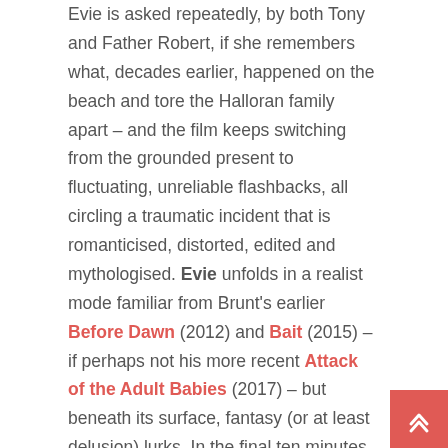Evie is asked repeatedly, by both Tony and Father Robert, if she remembers what, decades earlier, happened on the beach and tore the Halloran family apart – and the film keeps switching from the grounded present to fluctuating, unreliable flashbacks, all circling a traumatic incident that is romanticised, distorted, edited and mythologised. Evie unfolds in a realist mode familiar from Brunt's earlier Before Dawn (2012) and Bait (2015) – if perhaps not his more recent Attack of the Adult Babies (2017) – but beneath its surface, fantasy (or at least delusion) lurks. In the final ten minutes, everything comes together as, floating on the waters far from the firmness of the shore, a monster sheds its guise and the truth is revealed. It is a scenario which, for all the naturalism of the Yorkshire setting, ultimately lets the folkloric and the supernatural wash up hard against the psychological.